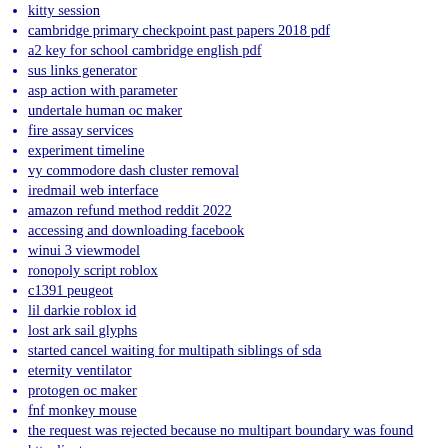kitty session
cambridge primary checkpoint past papers 2018 pdf
a2 key for school cambridge english pdf
sus links generator
asp action with parameter
undertale human oc maker
fire assay services
experiment timeline
vy commodore dash cluster removal
iredmail web interface
amazon refund method reddit 2022
accessing and downloading facebook
winui 3 viewmodel
ronopoly script roblox
c1391 peugeot
lil darkie roblox id
lost ark sail glyphs
started cancel waiting for multipath siblings of sda
eternity ventilator
protogen oc maker
fnf monkey mouse
the request was rejected because no multipart boundary was found httpclient
ronald mcdonald house pop tab collection boxes
prison life admin command script